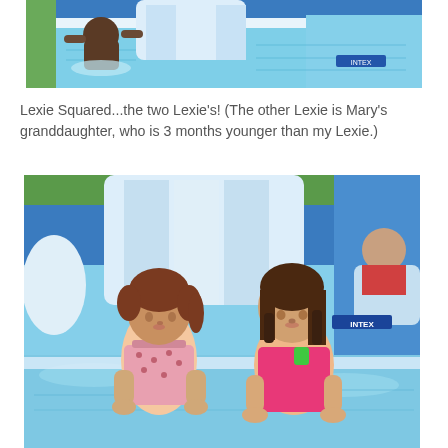[Figure (photo): A child playing in a blue and white inflatable pool with a slide, shot from above showing the water and pool interior.]
Lexie Squared...the two Lexie's! (The other Lexie is Mary's granddaughter, who is 3 months younger than my Lexie.)
[Figure (photo): Two young girls in swimsuits standing in a blue and white inflatable pool with a slide. A third child is visible in the background. The girl on the left wears a pink polka-dot swimsuit, the girl on the right wears a bright pink swimsuit with a green detail.]